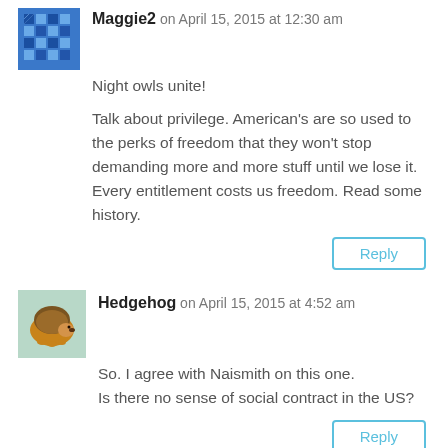Maggie2 on April 15, 2015 at 12:30 am
Night owls unite!
Talk about privilege. American’s are so used to the perks of freedom that they won’t stop demanding more and more stuff until we lose it. Every entitlement costs us freedom. Read some history.
Reply
Hedgehog on April 15, 2015 at 4:52 am
So. I agree with Naismith on this one.
Is there no sense of social contract in the US?
Reply
Alison Moore Smith on April 15, 2015 at